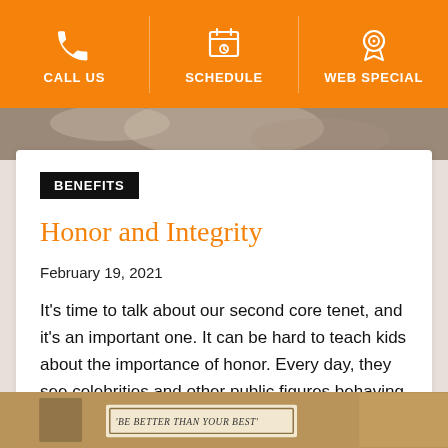CALL US | SCHEDULE | WEB SPECIAL
[Figure (photo): Partial photo strip at top of content area, cropped image visible]
BENEFITS
Honor and Integrity
February 19, 2021
It's time to talk about our second core tenet, and it's an important one. It can be hard to teach kids about the importance of honor. Every day, they see celebrities and other public figures behaving dishonorably – and if you want your child to learn why integrity matters, then signing them up for a [...]
[Figure (photo): Partial photo at bottom showing a framed sign with text 'BE BETTER THAN YOUR BEST']